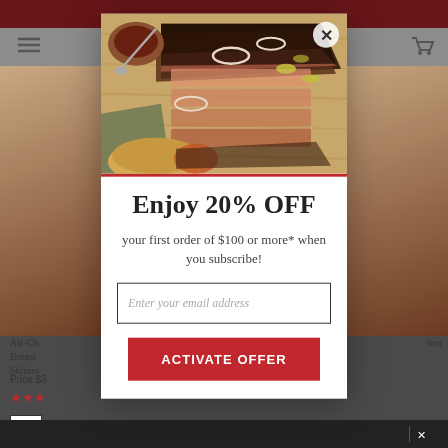[Figure (screenshot): Background of an e-commerce website showing product listing page with navigation header in red, product images, text, and star ratings partially visible behind a modal overlay.]
[Figure (photo): Food photo of BBQ brisket on a wooden cutting board with sauce, onion rings, and peppers, displayed at the top of a modal popup dialog.]
Enjoy 20% OFF
your first order of $100 or more* when you subscribe!
Enter your email address
ACTIVATE OFFER